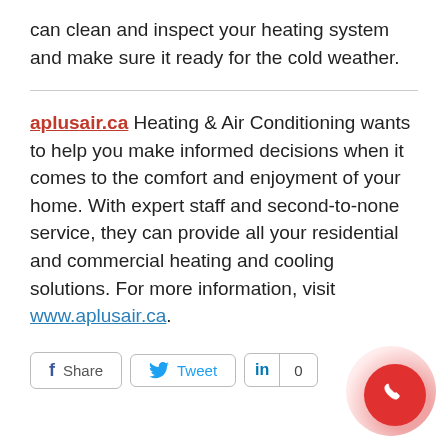can clean and inspect your heating system and make sure it ready for the cold weather.
aplusair.ca Heating & Air Conditioning wants to help you make informed decisions when it comes to the comfort and enjoyment of your home. With expert staff and second-to-none service, they can provide all your residential and commercial heating and cooling solutions. For more information, visit www.aplusair.ca.
[Figure (other): Social sharing buttons: Facebook Share, Twitter Tweet, LinkedIn with count 0, and a red phone call button in the bottom right corner]